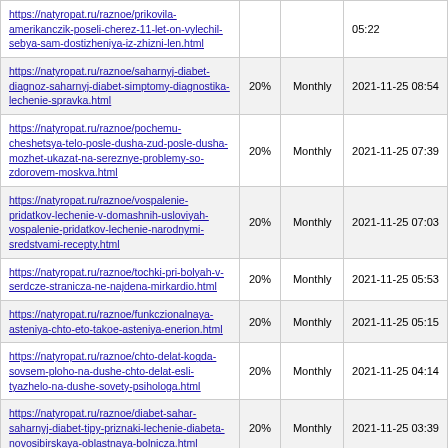| URL | Priority | Change Freq | Last Modified |
| --- | --- | --- | --- |
| https://natyropat.ru/raznoe/prikovila-amerikanczik-poseli-cherez-11-let-on-vylechil-sebya-sam-dostizheniya-iz-zhizni-len.html |  |  | 05:22 |
| https://natyropat.ru/raznoe/saharnyj-diabet-diagnoz-saharnyj-diabet-simptomy-diagnostika-lechenie-spravka.html | 20% | Monthly | 2021-11-25 08:54 |
| https://natyropat.ru/raznoe/pochemu-cheshetsya-telo-posle-dusha-zud-posle-dusha-mozhet-ukazat-na-sereznye-problemy-so-zdorovem-moskva.html | 20% | Monthly | 2021-11-25 07:39 |
| https://natyropat.ru/raznoe/vospalenie-pridatkov-lechenie-v-domashnih-usloviyah-vospalenie-pridatkov-lechenie-narodnymi-sredstvami-recepty.html | 20% | Monthly | 2021-11-25 07:03 |
| https://natyropat.ru/raznoe/tochki-pri-bolyah-v-serdcze-stranicza-ne-najdena-mirkardio.html | 20% | Monthly | 2021-11-25 05:53 |
| https://natyropat.ru/raznoe/funkczionalnaya-asteniya-chto-eto-takoe-asteniya-enerion.html | 20% | Monthly | 2021-11-25 05:15 |
| https://natyropat.ru/raznoe/chto-delat-kogda-sovsem-ploho-na-dushe-chto-delat-esli-tyazhelo-na-dushe-sovety-psihologa.html | 20% | Monthly | 2021-11-25 04:14 |
| https://natyropat.ru/raznoe/diabet-sahar-saharnyj-diabet-tipy-priznaki-lechenie-diabeta-novosibirskaya-oblastnaya-bolnicza.html | 20% | Monthly | 2021-11-25 03:39 |
| https://natyropat.ru/raznoe/ushib-pervaya-pomoshh-v-domashnih-usloviyah-ushiby-i-... | 20% | Monthly | 2021-11-25 |